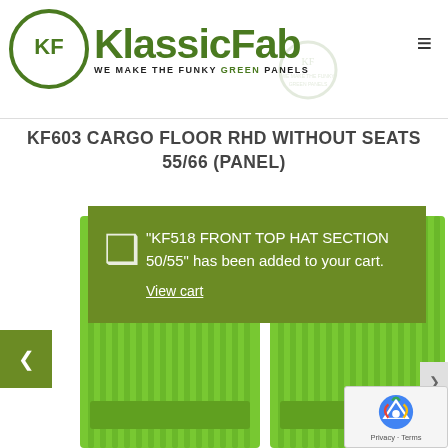[Figure (logo): KlassicFab logo with circular KF icon in olive green and text 'KlassicFab — WE MAKE THE FUNKY GREEN PANELS']
KF603 CARGO FLOOR RHD WITHOUT SEATS 55/66 (PANEL)
"KF518 FRONT TOP HAT SECTION 50/55" has been added to your cart.
View cart
[Figure (photo): Two green ribbed cargo floor panels side by side on white background]